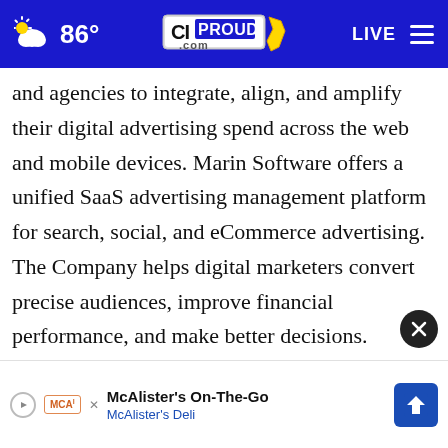86° CIPROUD.com LIVE
and agencies to integrate, align, and amplify their digital advertising spend across the web and mobile devices. Marin Software offers a unified SaaS advertising management platform for search, social, and eCommerce advertising. The Company helps digital marketers convert precise audiences, improve financial performance, and make better decisions. Headquartered in San Francisco with offices worldwide, Marin Software's technology powers mark... r
[Figure (screenshot): McAlister's On-The-Go advertisement banner with McAlister's Deli text and navigation arrow icon]